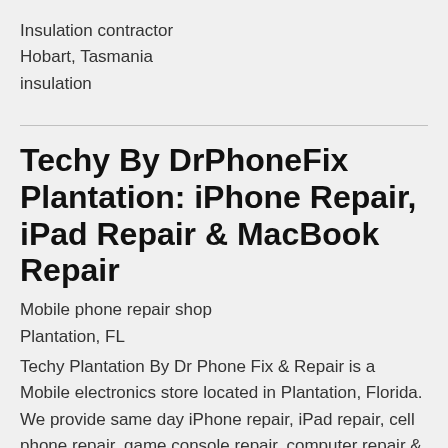Insulation contractor
Hobart, Tasmania
insulation
Techy By DrPhoneFix Plantation: iPhone Repair, iPad Repair & MacBook Repair
Mobile phone repair shop
Plantation, FL
Techy Plantation By Dr Phone Fix & Repair is a Mobile electronics store located in Plantation, Florida. We provide same day iPhone repair, iPad repair, cell phone repair, game console repair, computer repair & more.